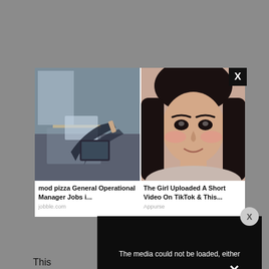[Figure (screenshot): Ad popup overlay on a webpage. Contains two ad thumbnails side by side: left shows a business/office scene with text 'mod pizza General Operational Manager Jobs i...' sourced from jobble.com; right shows a young woman's face with text 'The Girl Uploaded A Short Video On TikTok & This...' sourced from Appurse. A black X close button is in the top-right corner of the popup. A gray circle X button appears on the right side. A black panel covers part of the bottom-right with text 'The media could not be loaded, either because the server or network failed or because the format is not supported.' At the very bottom is an ad banner for 'Leidos Public Accounting - Senior Jobs in Ashburn An...' from jobble.com with a Sponsored label.]